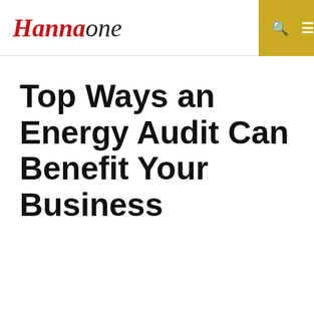Hannaone
Top Ways an Energy Audit Can Benefit Your Business